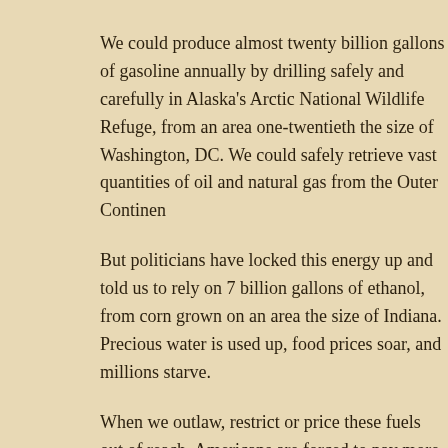We could produce almost twenty billion gallons of gasoline annually by drilling safely and carefully in Alaska's Arctic National Wildlife Refuge, from an area one-twentieth the size of Washington, DC. We could safely retrieve vast quantities of oil and natural gas from the Outer Continent
But politicians have locked this energy up and told us to rely on 7 billion gallons of ethanol, from corn grown on an area the size of Indiana. Precious water is used up, food prices soar, and millions starve.
When we outlaw, restrict or price these fuels out of reach, Americans are forced to pay more for energy that is artificially scarce. Job creation and economic progress are stifled. Our nation loses billions of dollars in royalties and taxes. Energy saved through painstaking conservation and alternative energy efforts is offset by further declines in US production, forcing Americans to import more foreign oil and send more jobs overseas. Civil rights are trampled underfoot.